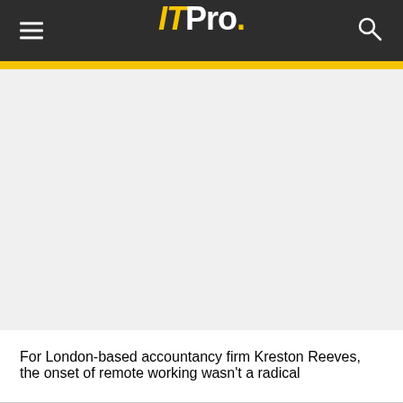ITPro.
[Figure (photo): Large image area placeholder (article featured image)]
For London-based accountancy firm Kreston Reeves, the onset of remote working wasn’t a radical